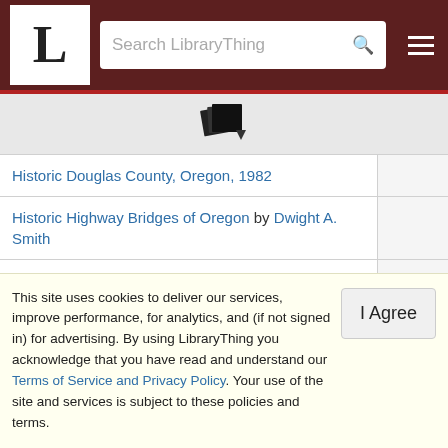LibraryThing navigation bar with logo, search box, and hamburger menu
[Figure (other): Stack of books icon with a small downward arrow]
| Title |  |
| --- | --- |
| Historic Douglas County, Oregon, 1982 |  |
| Historic Highway Bridges of Oregon by Dwight A. Smith |  |
| Historic Oregon by Philip H Parrish |  |
| Historic Oregon, Revised Edition by Philip H Parrish |  |
| Historic Photos of Oregon by William Stack |  |
| Historical Early Oregon. Early Forts, Old Mines, |  |
This site uses cookies to deliver our services, improve performance, for analytics, and (if not signed in) for advertising. By using LibraryThing you acknowledge that you have read and understand our Terms of Service and Privacy Policy. Your use of the site and services is subject to these policies and terms.